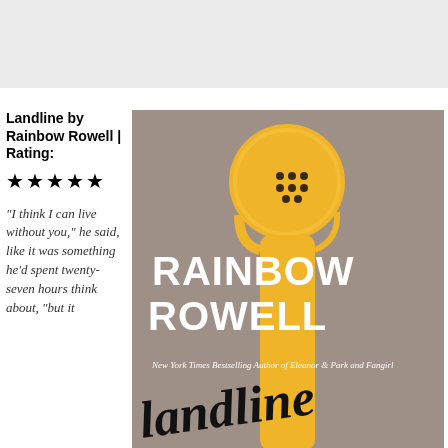[Figure (other): Light grey horizontal banner strip at the top of the page]
Landline by Rainbow Rowell | Rating: ★★★★★
"I think I can live without you," he said, like it was something he'd spent twenty-seven hours think about, "but it
[Figure (illustration): Book cover for Landline by Rainbow Rowell. Grey/taupe background with a stylized yellow telephone handset. Author name RAINBOW ROWELL in large white bold letters. 'New York Times Bestselling Author of Eleanor & Park and Fangirl' text. Title 'Landline' in large cursive/script black letters at the bottom.]